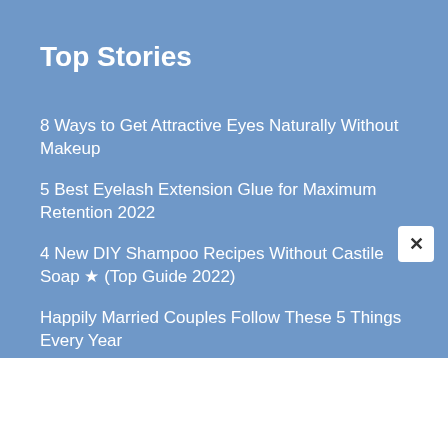Top Stories
8 Ways to Get Attractive Eyes Naturally Without Makeup
5 Best Eyelash Extension Glue for Maximum Retention 2022
4 New DIY Shampoo Recipes Without Castile Soap ★ (Top Guide 2022)
Happily Married Couples Follow These 5 Things Every Year
How to Take Off Acrylic Nails Without Acetone...